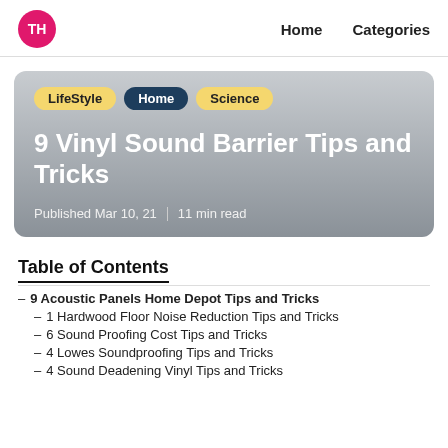TH  Home  Categories
[Figure (infographic): Hero card with tags LifeStyle, Home, Science and article title '9 Vinyl Sound Barrier Tips and Tricks', published Mar 10, 21, 11 min read]
Table of Contents
9 Acoustic Panels Home Depot Tips and Tricks
1 Hardwood Floor Noise Reduction Tips and Tricks
6 Sound Proofing Cost Tips and Tricks
4 Lowes Soundproofing Tips and Tricks
4 Sound Deadening Vinyl Tips and Tricks